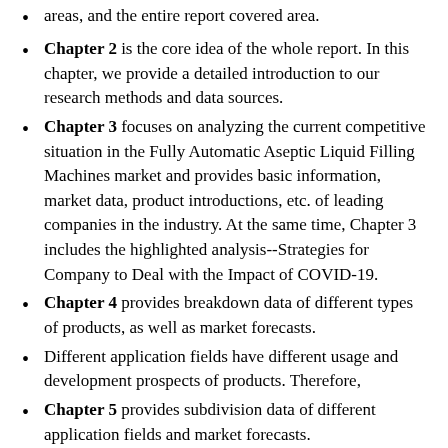areas, and the entire report covered area.
Chapter 2 is the core idea of the whole report. In this chapter, we provide a detailed introduction to our research methods and data sources.
Chapter 3 focuses on analyzing the current competitive situation in the Fully Automatic Aseptic Liquid Filling Machines market and provides basic information, market data, product introductions, etc. of leading companies in the industry. At the same time, Chapter 3 includes the highlighted analysis--Strategies for Company to Deal with the Impact of COVID-19.
Chapter 4 provides breakdown data of different types of products, as well as market forecasts.
Different application fields have different usage and development prospects of products. Therefore,
Chapter 5 provides subdivision data of different application fields and market forecasts.
Chapter 6 includes detailed data of major regions of the world, including detailed data of major regions of the world. North America, Asia Pacific, Europe, South America, Middle East and Africa.